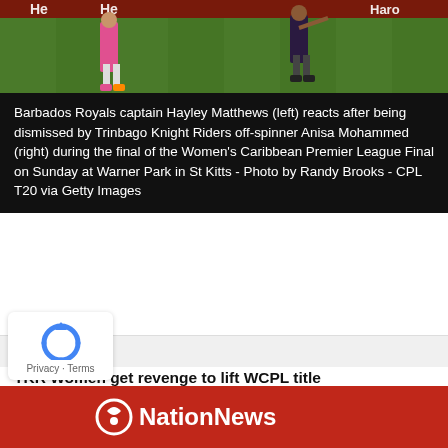[Figure (photo): Cricket match photo showing two players on a green field, with sponsor banners visible including 'Hero']
Barbados Royals captain Hayley Matthews (left) reacts after being dismissed by Trinbago Knight Riders off-spinner Anisa Mohammed (right) during the final of the Women's Caribbean Premier League Final on Sunday at Warner Park in St Kitts - Photo by Randy Brooks - CPL T20 via Getty Images
SPORTS
TKR Women get revenge to lift WCPL title
Basseterre – Trinbago Knight Riders Women exacted revenge for their loss in the 6IXTY when they...
Posted on September 5, 2022
[Figure (logo): NationNews logo on red background]